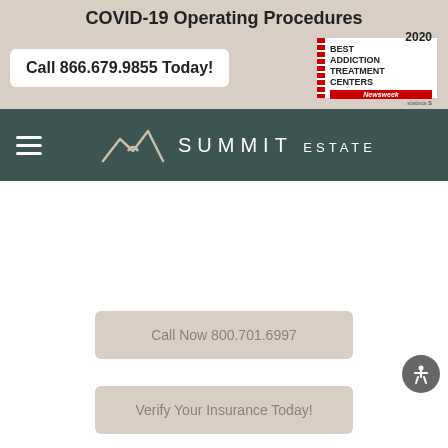COVID-19 Operating Procedures
Call 866.679.9855 Today!
[Figure (logo): Best Addiction Treatment Centers 2020 Newsweek award badge]
[Figure (logo): Summit Estate logo with mountain icon and hamburger menu]
Call Now 800.701.6997
Verify Your Insurance Today!